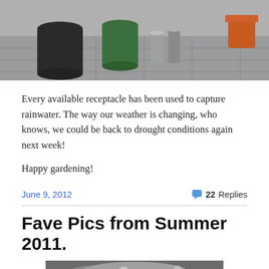[Figure (photo): Photo showing buckets and containers on paving stones used to collect rainwater, with a green bucket and various tin cans visible.]
Every available receptacle has been used to capture rainwater. The way our weather is changing, who knows, we could be back to drought conditions again next week!

Happy gardening!
June 9, 2012
22 Replies
Fave Pics from Summer 2011.
[Figure (photo): Photo showing stones or rocks on the ground, possibly a garden path or mossy stones, partially visible at the bottom of the page.]